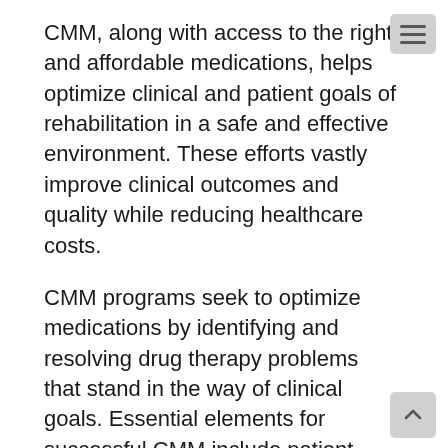CMM, along with access to the right and affordable medications, helps optimize clinical and patient goals of rehabilitation in a safe and effective environment. These efforts vastly improve clinical outcomes and quality while reducing healthcare costs.
CMM programs seek to optimize medications by identifying and resolving drug therapy problems that stand in the way of clinical goals. Essential elements for successful CMM include patient-centered consistent and systematic processes through which care plans are developed. Care plans should be individualized based on patient and health care provider goals. The care plan recommends interventions to help alleviate medication related problems that interfere